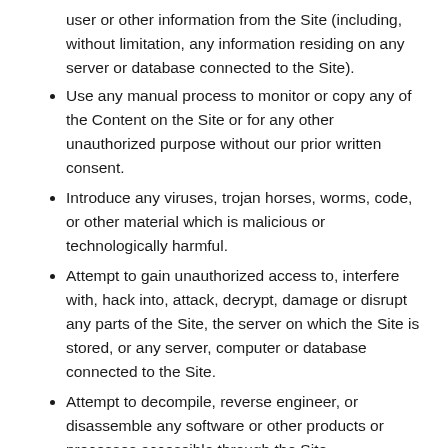user or other information from the Site (including, without limitation, any information residing on any server or database connected to the Site).
Use any manual process to monitor or copy any of the Content on the Site or for any other unauthorized purpose without our prior written consent.
Introduce any viruses, trojan horses, worms, code, or other material which is malicious or technologically harmful.
Attempt to gain unauthorized access to, interfere with, hack into, attack, decrypt, damage or disrupt any parts of the Site, the server on which the Site is stored, or any server, computer or database connected to the Site.
Attempt to decompile, reverse engineer, or disassemble any software or other products or processes accessible through the Site.